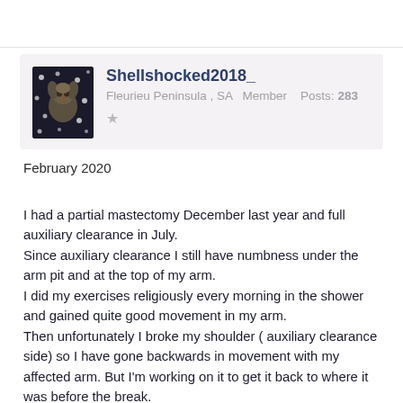[Figure (photo): Profile avatar showing a small dog (puppy) on a dark background with white dots]
Shellshocked2018_
Fleurieu Peninsula , SA   Member    Posts: 283
★
February 2020
I had a partial mastectomy December last year and full auxiliary clearance in July.
Since auxiliary clearance I still have numbness under the arm pit and at the top of my arm.
I did my exercises religiously every morning in the shower and gained quite good movement in my arm.
Then unfortunately I broke my shoulder ( auxiliary clearance side) so I have gone backwards in movement with my affected arm. But I'm working on it to get it back to where it was before the break.
Im currently doing hydrotherapy with a physiotherapist which is helping, plus my exercises .
Slowly getting more movement back again.